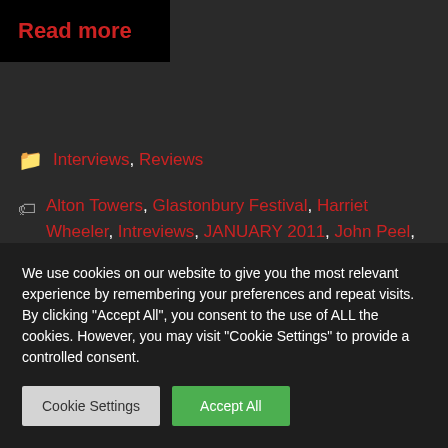Read more
Interviews, Reviews
Alton Towers, Glastonbury Festival, Harriet Wheeler, Intreviews, JANUARY 2011, John Peel, johnpeel, Let's Buy Happiness, Liz Fraser, Michael Eavis, Paul Lester, Sarah Hall, Temper Trap
We use cookies on our website to give you the most relevant experience by remembering your preferences and repeat visits. By clicking "Accept All", you consent to the use of ALL the cookies. However, you may visit "Cookie Settings" to provide a controlled consent.